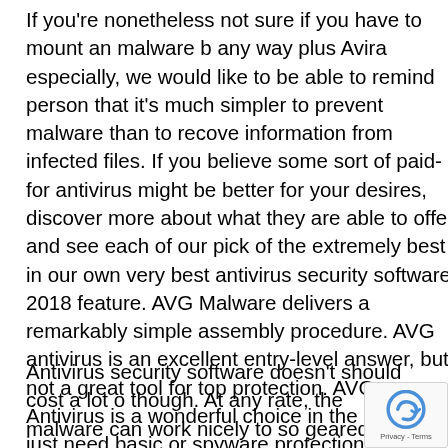If you're nonetheless not sure if you have to mount an malware b any way plus Avira especially, we would like to be able to remind person that it's much simpler to prevent malware than to recove information from infected files. If you believe some sort of paid-for antivirus might be better for your desires, discover more about what they are able to offer and see each of our pick of the extremely best in our own very best antivirus security software 2018 feature. AVG Malware delivers a remarkably simple assembly procedure. AVG antivirus is an excellent entry-level answer, but not a great tool for top protection. AVG Antivirus is a wonderful choice in the event you just need basic or spyware protection and do not need to cover advanced functions, or you are able to utilize it in tandem together with your present anti virus program as the second covering of security.
Antivirus security software doesn't should cost a lot o though. At any rate, the malware can work nicely to so geared toward safeguarding your current device, for instance,
[Figure (other): reCAPTCHA badge widget with Privacy - Terms text]